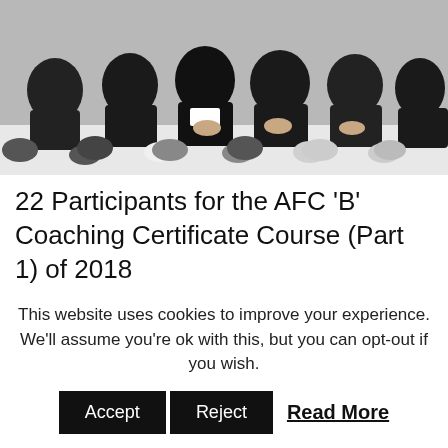[Figure (photo): Group photo showing people seated on the floor, wearing dark clothing, viewed from torso/legs down]
22 Participants for the AFC ‘B’ Coaching Certificate Course (Part 1) of 2018
This website uses cookies to improve your experience. We’ll assume you’re ok with this, but you can opt-out if you wish.
Accept  Reject  Read More